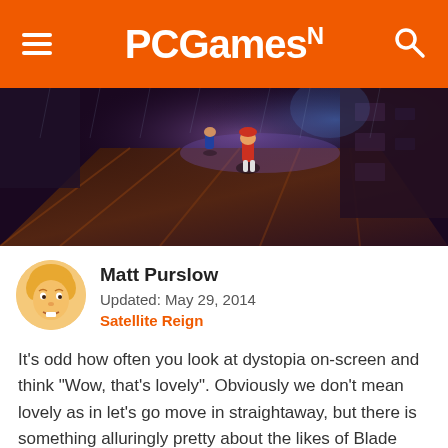PCGamesN
[Figure (screenshot): Game screenshot of Satellite Reign showing isometric view of a cyberpunk city with characters on a rain-slicked street at night]
Matt Purslow
Updated: May 29, 2014
Satellite Reign
It’s odd how often you look at dystopia on-screen and think “Wow, that’s lovely”. Obviously we don’t mean lovely as in let’s go move in straightaway, but there is something alluringly pretty about the likes of Blade Runner’s future LA. Satellite Reign – spiritual successor to the original Syndicate games – has got that feeling crack on, as demonstrated in